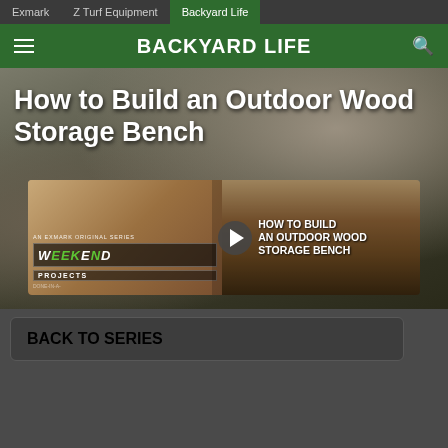Exmark | Z Turf Equipment | Backyard Life
BACKYARD LIFE
How to Build an Outdoor Wood Storage Bench
[Figure (screenshot): Video thumbnail for 'How to Build an Outdoor Wood Storage Bench' — an Exmark original series 'Done-In-A-Weekend Projects'. Shows a wooden outdoor storage bench. Play button visible in center with text 'HOW TO BUILD AN OUTDOOR WOOD STORAGE BENCH'.]
BACK TO SERIES